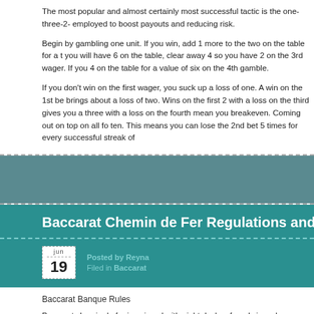The most popular and almost certainly most successful tactic is the one-three-2- employed to boost payouts and reducing risk.
Begin by gambling one unit. If you win, add 1 more to the two on the table for a total of you will have 6 on the table, clear away 4 so you have 2 on the 3rd wager. If you 4 on the table for a value of six on the 4th gamble.
If you don't win on the first wager, you suck up a loss of one. A win on the 1st be brings about a loss of two. Wins on the first 2 with a loss on the third gives you a three with a loss on the fourth mean you breakeven. Coming out on top on all fo ten. This means you can lose the 2nd bet 5 times for every successful streak of
[Figure (other): Teal decorative bar with dashed border separators]
Baccarat Chemin de Fer Regulations and Schen
Posted by Reyna
Filed in Baccarat
Baccarat Banque Rules
Baccarat chemin de fer is enjoyed with eight decks of cards in a shoe. Cards va face value and with Ten, Jack, Queen, King are zero, and Ace is one. Wagers ar or for a tie (these are not really people; they simply represent the two hands tha
For the value of a person on the table, to be collected at the top. The